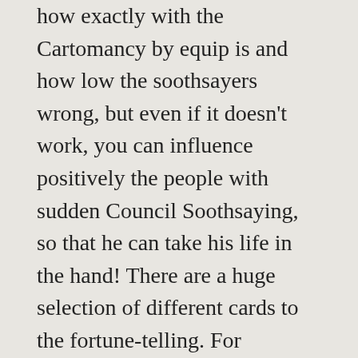how exactly with the Cartomancy by equip is and how low the soothsayers wrong, but even if it doesn't work, you can influence positively the people with sudden Council Soothsaying, so that he can take his life in the hand! There are a huge selection of different cards to the fortune-telling. For assistance, try visiting "Bernard Golden". There are for example, Angel cards and Tarrotkarten, but also with an ordinary playing card set, some people with psychic abilities to predict the future. If you can take a look into the future, then it is possible to prevent fears and ugly things can often be countered. Partnerships can be saved and also diseases, losses of people and mishaps can be combated.
Actually, you can say that card reader help IM desperate problems and prevent problems before they really break out. Many experts are divided how